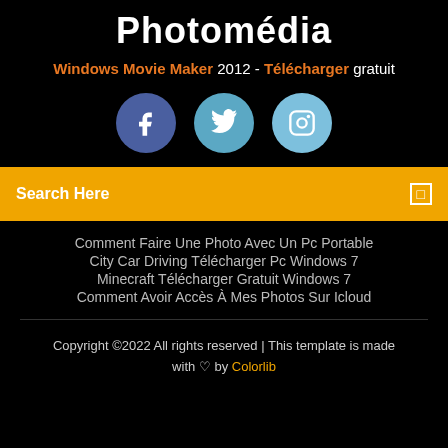Photomédia
Windows Movie Maker 2012 - Télécharger gratuit
[Figure (infographic): Three social media circular icons: Facebook (dark blue), Twitter (medium blue), Instagram (light blue)]
Search Here
Comment Faire Une Photo Avec Un Pc Portable
City Car Driving Télécharger Pc Windows 7
Minecraft Télécharger Gratuit Windows 7
Comment Avoir Accès À Mes Photos Sur Icloud
Copyright ©2022 All rights reserved | This template is made with ♡ by Colorlib